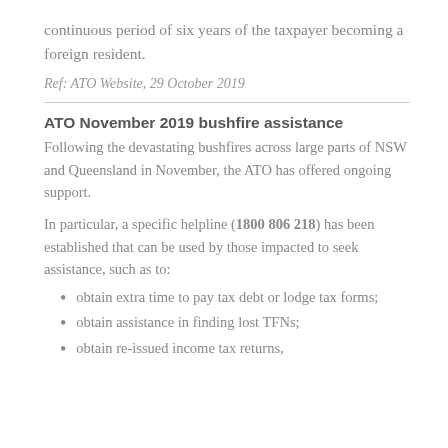continuous period of six years of the taxpayer becoming a foreign resident.
Ref: ATO Website, 29 October 2019
ATO November 2019 bushfire assistance
Following the devastating bushfires across large parts of NSW and Queensland in November, the ATO has offered ongoing support.
In particular, a specific helpline (1800 806 218) has been established that can be used by those impacted to seek assistance, such as to:
obtain extra time to pay tax debt or lodge tax forms;
obtain assistance in finding lost TFNs;
obtain re-issued income tax returns,